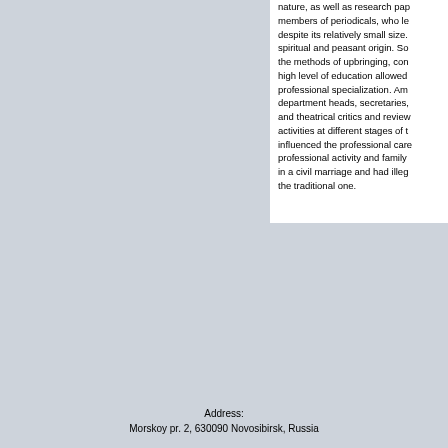nature, as well as research pap members of periodicals, who le despite its relatively small size. spiritual and peasant origin. So the methods of upbringing, con high level of education allowed professional specialization. Am department heads, secretaries, and theatrical critics and review activities at different stages of t influenced the professional car professional activity and family in a civil marriage and had illeg the traditional one.
Address:
Morskoy pr. 2, 630090 Novosibirsk, Russia